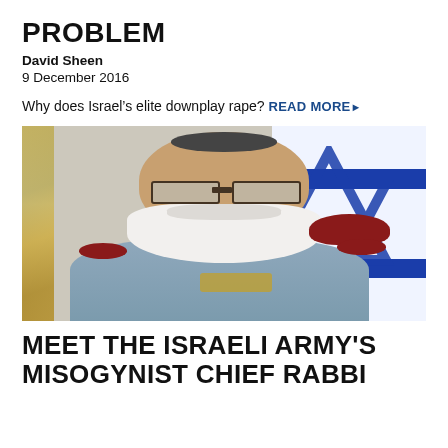PROBLEM
David Sheen
9 December 2016
Why does Israel's elite downplay rape? READ MORE ▶
[Figure (photo): A bearded man in Israeli military uniform seated in a chair, with an Israeli flag visible in the background.]
MEET THE ISRAELI ARMY'S MISOGYNIST CHIEF RABBI